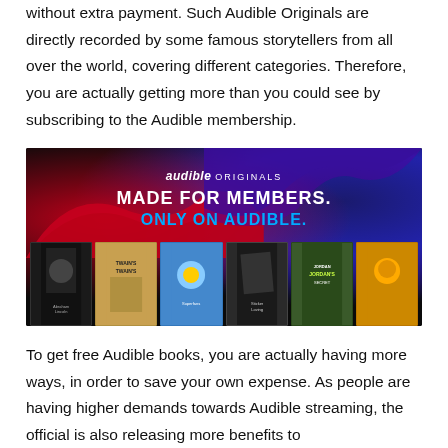without extra payment. Such Audible Originals are directly recorded by some famous storytellers from all over the world, covering different categories. Therefore, you are actually getting more than you could see by subscribing to the Audible membership.
[Figure (photo): Audible Originals promotional banner reading 'MADE FOR MEMBERS. ONLY ON AUDIBLE.' with book cover thumbnails below on a dark background with red and blue wave graphics.]
To get free Audible books, you are actually having more ways, in order to save your own expense. As people are having higher demands towards Audible streaming, the official is also releasing more benefits to